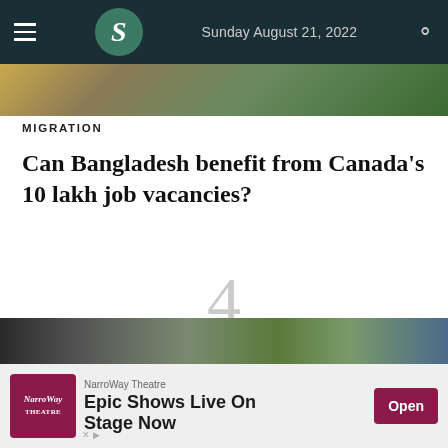Sunday August 21, 2022
[Figure (photo): Top decorative photo strip showing food or market scene]
MIGRATION
Can Bangladesh benefit from Canada's 10 lakh job vacancies?
4
[Figure (photo): Street scene with crowd of people and buildings in background]
[Figure (other): NarroWay Theatre advertisement: Epic Shows Live On Stage Now]